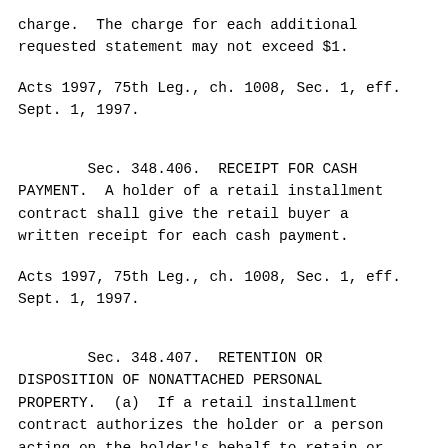charge.  The charge for each additional requested statement may not exceed $1.
Acts 1997, 75th Leg., ch. 1008, Sec. 1, eff. Sept. 1, 1997.
Sec. 348.406.  RECEIPT FOR CASH PAYMENT.  A holder of a retail installment contract shall give the retail buyer a written receipt for each cash payment.
Acts 1997, 75th Leg., ch. 1008, Sec. 1, eff. Sept. 1, 1997.
Sec. 348.407.  RETENTION OR DISPOSITION OF NONATTACHED PERSONAL PROPERTY.  (a)  If a retail installment contract authorizes the holder or a person acting on the holder's behalf to retain or